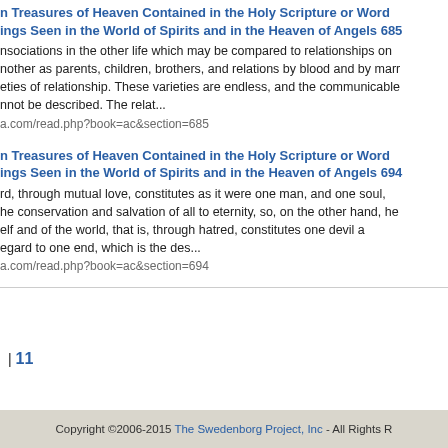n Treasures of Heaven Contained in the Holy Scripture or Word ings Seen in the World of Spirits and in the Heaven of Angels 685
nsociations in the other life which may be compared to relationships on nother as parents, children, brothers, and relations by blood and by marr eties of relationship. These varieties are endless, and the communicable nnot be described. The relat...
a.com/read.php?book=ac&section=685
n Treasures of Heaven Contained in the Holy Scripture or Word ings Seen in the World of Spirits and in the Heaven of Angels 694
rd, through mutual love, constitutes as it were one man, and one soul, he conservation and salvation of all to eternity, so, on the other hand, he elf and of the world, that is, through hatred, constitutes one devil a egard to one end, which is the des...
a.com/read.php?book=ac&section=694
| 11
Copyright ©2006-2015 The Swedenborg Project, Inc - All Rights R